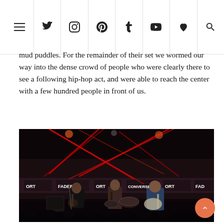Navigation header with hamburger menu and social icons: Twitter, Instagram, Pinterest, Tumblr, YouTube, Heart/Favorites, Search
mud puddles. For the remainder of their set we wormed our way into the dense crowd of people who were clearly there to see a following hip-hop act, and were able to reach the center with a few hundred people in front of us.
[Figure (photo): Concert photo showing a band performing on stage at Fader Fort with Converse branding. Red laser lights cross the stage. Three musicians visible: a guitarist on the left in black, a bassist/guitarist in the center, and a guitarist on the right in a blue shirt. Drum kit visible in the background.]